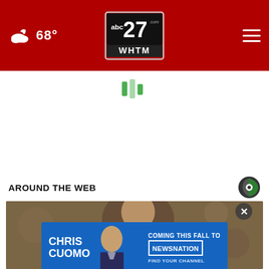abc27 WHTM | 68°
[Figure (logo): abc27.com WHTM logo on red header bar]
[Figure (infographic): Green loading spinner bars centered on white background (top)]
[Figure (infographic): Green loading spinner bars centered on white background (middle)]
AROUND THE WEB
[Figure (photo): Man in suit with blurred background, photo below 'Around the Web' section header]
[Figure (infographic): Advertisement banner: CHRIS CUOMO COMING THIS FALL TO [NEWSNATION] FIND YOUR CHANNEL with man photo]